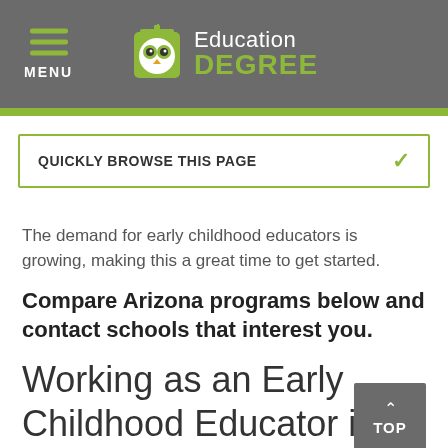MENU | Education DEGREE
QUICKLY BROWSE THIS PAGE
The demand for early childhood educators is growing, making this a great time to get started.
Compare Arizona programs below and contact schools that interest you.
Working as an Early Childhood Educator in